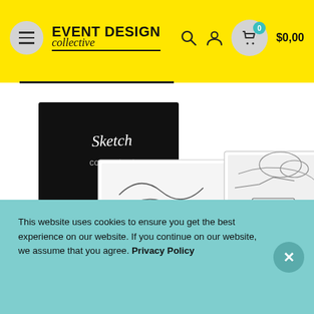EVENT DESIGN collective — $0,00
[Figure (photo): Collection of hand-drawn event design sketches and concept illustrations spread out, including black-background graphic art and pencil sketches of event layouts, with a yellow pencil visible]
This website uses cookies to ensure you get the best experience on our website. If you continue on our website, we assume that you agree. Privacy Policy